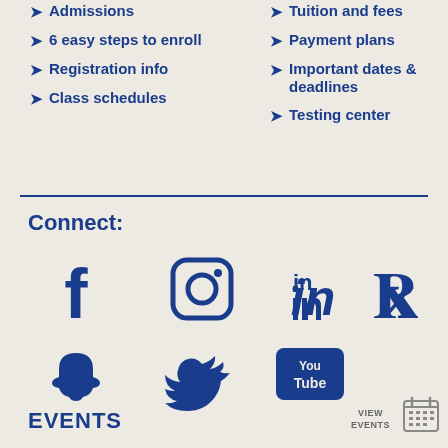Admissions
6 easy steps to enroll
Registration info
Class schedules
Tuition and fees
Payment plans
Important dates & deadlines
Testing center
Connect:
[Figure (infographic): Social media icons in dark blue: Facebook, Instagram, LinkedIn, Pinterest, Snapchat, Twitter, YouTube]
EVENTS
VIEW EVENTS
[Figure (infographic): Calendar icon]